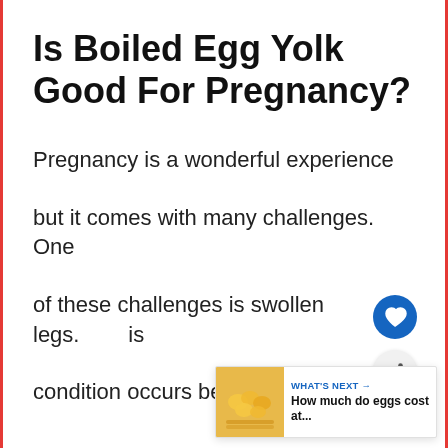Is Boiled Egg Yolk Good For Pregnancy?
Pregnancy is a wonderful experience but it comes with many challenges. One of these challenges is swollen legs. Is condition occurs because of the
[Figure (infographic): Blue circle heart/like button icon]
[Figure (infographic): Share button icon (grey circle with share symbol)]
[Figure (infographic): What's Next panel showing eggs image with text: WHAT'S NEXT → How much do eggs cost at...]